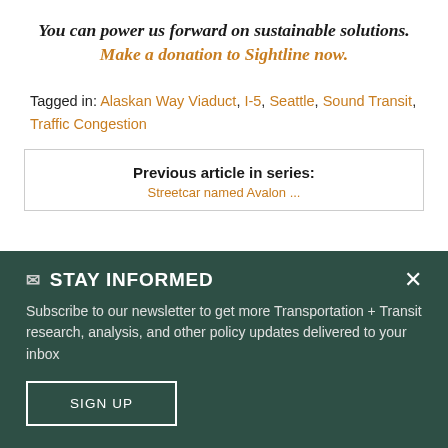You can power us forward on sustainable solutions. Make a donation to Sightline now.
Tagged in: Alaskan Way Viaduct, I-5, Seattle, Sound Transit, Traffic Congestion
Previous article in series:
STAY INFORMED
Subscribe to our newsletter to get more Transportation + Transit research, analysis, and other policy updates delivered to your inbox
SIGN UP